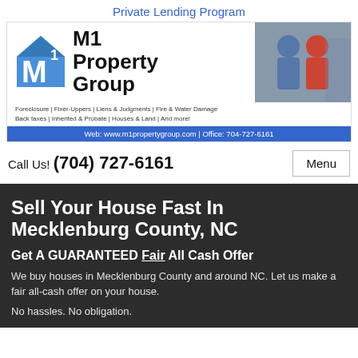Private Lending Program
[Figure (logo): M1 Property Group logo with house icon and photo of two people]
Foreclosure | Fixer-Uppers | Liens & Judgments | Fire & Water Damage
Back taxes | Inherited & Probate | Houses & Land | And more!
Web: www.m1propertygroup.com | Office: 704-727-6161
Call Us! (704) 727-6161
Menu
Sell Your House Fast In Mecklenburg County, NC
Get A GUARANTEED Fair All Cash Offer
We buy houses in Mecklenburg County and around NC. Let us make a fair all-cash offer on your house.
No hassles. No obligation.